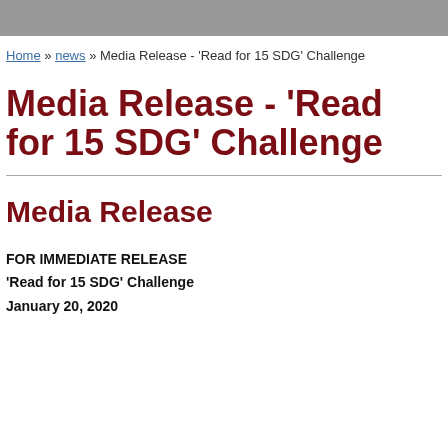Home » news » Media Release - 'Read for 15 SDG' Challenge
Media Release - 'Read for 15 SDG' Challenge
Media Release
FOR IMMEDIATE RELEASE
'Read for 15 SDG' Challenge
January 20, 2020